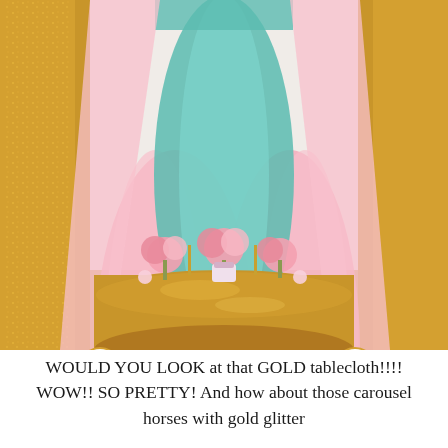[Figure (photo): A decorated party dessert table with a gold sequin tablecloth, pink and teal/turquoise fabric draping, carousel horse decorations on either side, floral arrangements, and various desserts on the table against a draped backdrop.]
WOULD YOU LOOK at that GOLD tablecloth!!!! WOW!! SO PRETTY! And how about those carousel horses with gold glitter